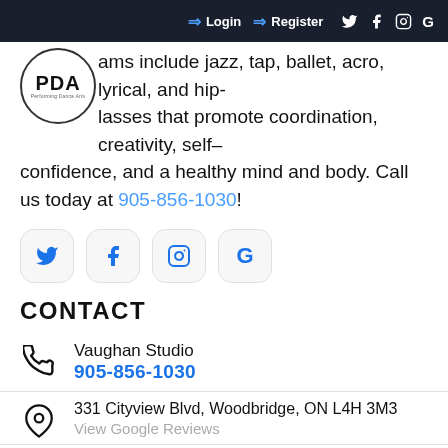Login  Register
ams include jazz, tap, ballet, acro, lyrical, and hip- lasses that promote coordination, creativity, self-confidence, and a healthy mind and body. Call us today at 905-856-1030!
[Figure (logo): PDA Performing Dance Arts circular logo]
[Figure (infographic): Four social media icon buttons: Twitter, Facebook, Instagram, Google]
CONTACT
Vaughan Studio
905-856-1030
331 Cityview Blvd, Woodbridge, ON L4H 3M3
View Google Reviews
info@performingdancearts.ca
Etobicoke Studio